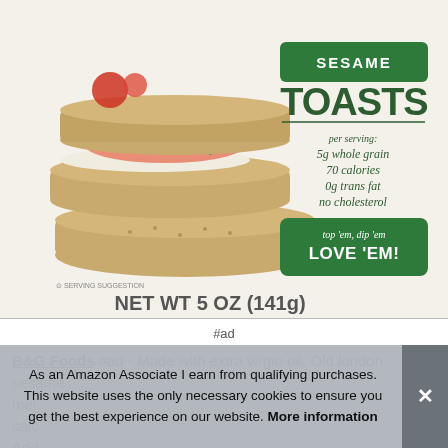[Figure (photo): Product package of Old London Sesame Toasts. White/cream box showing stacked sesame toast crackers topped with cream cheese, smoked salmon, and dill. Green banner reads 'SESAME TOASTS'. Per serving info: 5g whole grain, 70 calories, 0g trans fat, no cholesterol. Green button: 'top em, dip em LOVE EM!'. Bottom: SERVING SUGGESTION, NET WT 5 OZ (141g).]
#ad
B&G Foods #ad - Made with extra virgin oil. Old london sesame mel... calc... Add... Clas... Flat...
As an Amazon Associate I earn from qualifying purchases. This website uses the only necessary cookies to ensure you get the best experience on our website. More information